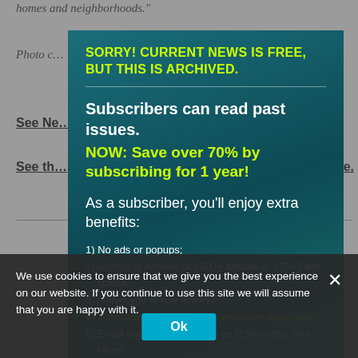homes and neighborhoods."
Photo c... Fund.
See Ne...
See th... ite.
[Figure (screenshot): Modal popup on a news website. Teal/dark green background. Yellow heading: 'SORRY! CURRENT NEWS IS FREE, BUT THIS IS ARCHIVED.' White bold text: 'Subscribers can read past issues.' Yellow bold text: 'NOW: Save over 70% by subscribing for 1 year!' White text: 'As a subscriber, you'll enjoy extra benefits:' followed by numbered list items including 'No ads or popups;', 'Access to Archive of 9500+ articles in 175+ Past Issues;', 'Allows you to use this PDF...', 'Satisfaction of supporting regenerative work; and', 'Email notification of articles (2X/month). And More!']
We use cookies to ensure that we give you the best experience on our website. If you continue to use this site we will assume that you are happy with it.
Ok